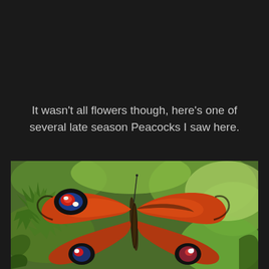It wasn't all flowers though, here's one of several late season Peacocks I saw here.
[Figure (photo): Close-up photograph of a Peacock butterfly resting on green thistle leaves. The butterfly displays its distinctive orange-red wings with eye-spot markings featuring blue, black, white, and red patterns. The background shows blurred green foliage in sunlight.]